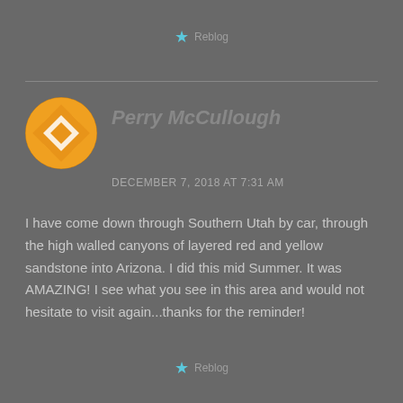★ Reblog
Perry McCullough
DECEMBER 7, 2018 AT 7:31 AM
I have come down through Southern Utah by car, through the high walled canyons of layered red and yellow sandstone into Arizona. I did this mid Summer. It was AMAZING! I see what you see in this area and would not hesitate to visit again...thanks for the reminder!
★ Reblog